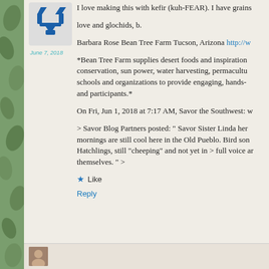[Figure (logo): Blue recycling arrows icon / user avatar]
June 7, 2018
I love making this with kefir (kuh-FEAR). I have grains love and glochids, b.

Barbara Rose Bean Tree Farm Tucson, Arizona http://w

*Bean Tree Farm supplies desert foods and inspiration conservation, sun power, water harvesting, permacultu schools and organizations to provide engaging, hands- and participants.*

On Fri, Jun 1, 2018 at 7:17 AM, Savor the Southwest: w

> Savor Blog Partners posted: " Savor Sister Linda her mornings are still cool here in the Old Pueblo. Bird son Hatchlings, still “cheeping” and not yet in > full voice ar themselves. " >
Like
Reply